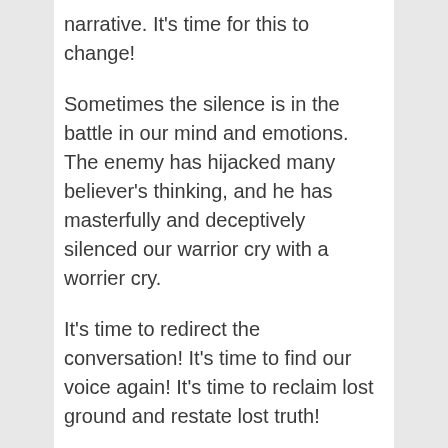narrative. It’s time for this to change!
Sometimes the silence is in the battle in our mind and emotions. The enemy has hijacked many believer’s thinking, and he has masterfully and deceptively silenced our warrior cry with a worrier cry.
It’s time to redirect the conversation! It’s time to find our voice again! It’s time to reclaim lost ground and restate lost truth!
Yes, we need the wisdom and the power of God to do this in a way that honours